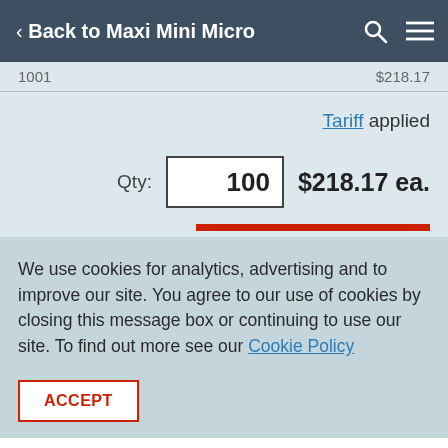< Back to Maxi Mini Micro
1001   $218.17
Tariff applied
Qty: 100   $218.17 ea.
We use cookies for analytics, advertising and to improve our site. You agree to our use of cookies by closing this message box or continuing to use our site. To find out more see our Cookie Policy
ACCEPT